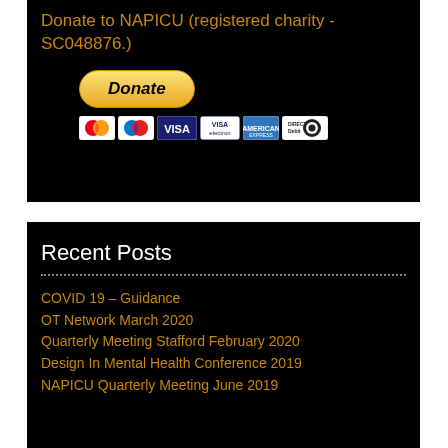Donate to NAPICU (registered charity - SC048876.)
[Figure (other): PayPal Donate button with payment method logos: MasterCard, Maestro, VISA, VISA Electron, American Express, Direct Debit]
Recent Posts
COVID 19 – Guidance
OT Network March 2020
Quarterly Meeting Stafford February 2020
Design In Mental Health Conference 2019
NAPICU Quarterly Meeting June 2019